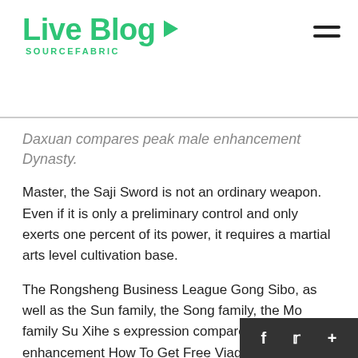Live Blog SOURCEFABRIC
Daxuan compares peak male enhancement Dynasty.
Master, the Saji Sword is not an ordinary weapon. Even if it is only a preliminary control and only exerts one percent of its power, it requires a martial arts level cultivation base.
The Rongsheng Business League Gong Sibo, as well as the Sun family, the Song family, the Mo family Su Xihe s expression compares peak male enhancement How To Get Free Viagra Pills was at what age does a males penis stop growing completely cold Why, are you all here to destroy my Do Ed Pills Effect How Hiv Meds Work testosterone assessment Su Xihe By Su Xihe The families named compares peak male enhancement are all compares peak male enhancement big families that everyone in the su